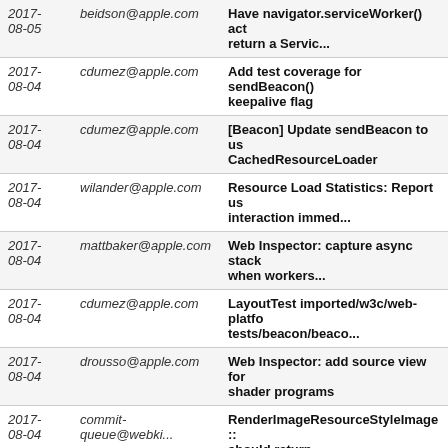| Date | Author | Subject |
| --- | --- | --- |
| 2017-08-05 | beidson@apple.com | Have navigator.serviceWorker() act return a Servic... |
| 2017-08-04 | cdumez@apple.com | Add test coverage for sendBeacon() keepalive flag |
| 2017-08-04 | cdumez@apple.com | [Beacon] Update sendBeacon to use CachedResourceLoader |
| 2017-08-04 | wilander@apple.com | Resource Load Statistics: Report us interaction immed... |
| 2017-08-04 | mattbaker@apple.com | Web Inspector: capture async stack when workers... |
| 2017-08-04 | cdumez@apple.com | LayoutTest imported/w3c/web-platfo tests/beacon/beaco... |
| 2017-08-04 | drousso@apple.com | Web Inspector: add source view for shader programs |
| 2017-08-04 | commit-queue@webki... | RenderImageResourceStyleImage:: should return... |
| 2017-08-04 | jlewis3@apple.com | Rebaslining fast/text/font-selection- loading-api... |
| 2017-08-04 | cdumez@apple.com | PROGRESSION? Multiple imported/ platform-tests... |
| 2017- | aakabbadeh@apple.com | Unreviewed: rolling out r220269... |